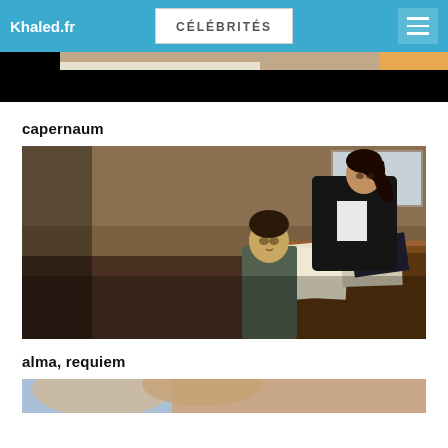Khaled.fr — CÉLÉBRITÉS
[Figure (photo): Partial top image, mostly black background with a partial figure visible at top]
capernaum
[Figure (photo): Movie still from Capernaum showing a woman in a black jacket and a young boy standing at a courtroom podium/desk]
alma, requiem
[Figure (photo): Partial bottom image showing a face close-up with blue and skin tones]